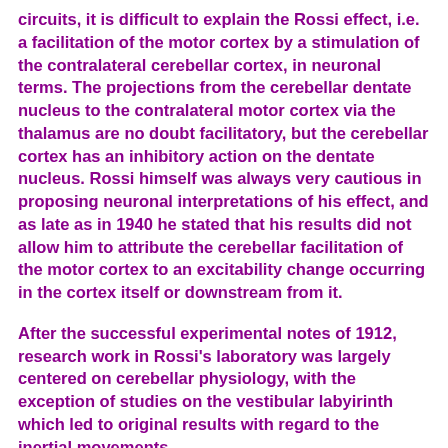circuits, it is difficult to explain the Rossi effect, i.e. a facilitation of the motor cortex by a stimulation of the contralateral cerebellar cortex, in neuronal terms. The projections from the cerebellar dentate nucleus to the contralateral motor cortex via the thalamus are no doubt facilitatory, but the cerebellar cortex has an inhibitory action on the dentate nucleus. Rossi himself was always very cautious in proposing neuronal interpretations of his effect, and as late as in 1940 he stated that his results did not allow him to attribute the cerebellar facilitation of the motor cortex to an excitability change occurring in the cortex itself or downstream from it.
After the successful experimental notes of 1912, research work in Rossi's laboratory was largely centered on cerebellar physiology, with the exception of studies on the vestibular labyirinth which led to original results with regard to the inertial movements